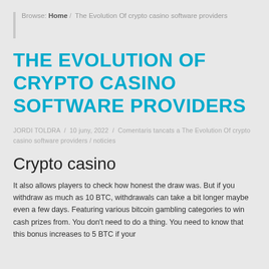Browse: Home / The Evolution Of crypto casino software providers
THE EVOLUTION OF CRYPTO CASINO SOFTWARE PROVIDERS
JORDI TOLDRA / 10 juny, 2022 / Comentaris tancats a The Evolution Of crypto casino software providers / noticies
Crypto casino
It also allows players to check how honest the draw was. But if you withdraw as much as 10 BTC, withdrawals can take a bit longer maybe even a few days. Featuring various bitcoin gambling categories to win cash prizes from. You don't need to do a thing. You need to know that this bonus increases to 5 BTC if your